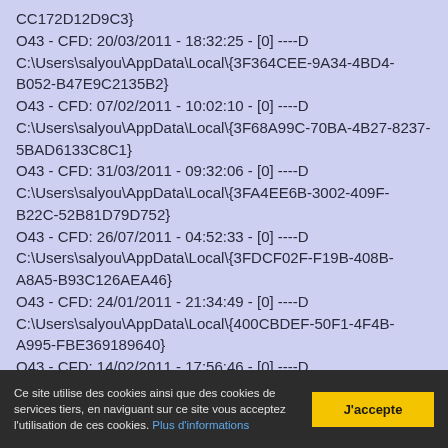CC172D12D9C3}
O43 - CFD: 20/03/2011 - 18:32:25 - [0] ----D C:\Users\salyou\AppData\Local\{3F364CEE-9A34-4BD4-B052-B47E9C2135B2}
O43 - CFD: 07/02/2011 - 10:02:10 - [0] ----D C:\Users\salyou\AppData\Local\{3F68A99C-70BA-4B27-8237-5BAD6133C8C1}
O43 - CFD: 31/03/2011 - 09:32:06 - [0] ----D C:\Users\salyou\AppData\Local\{3FA4EE6B-3002-409F-B22C-52B81D79D752}
O43 - CFD: 26/07/2011 - 04:52:33 - [0] ----D C:\Users\salyou\AppData\Local\{3FDCF02F-F19B-408B-A8A5-B93C126AEA46}
O43 - CFD: 24/01/2011 - 21:34:49 - [0] ----D C:\Users\salyou\AppData\Local\{400CBDEF-50F1-4F4B-A995-FBE369189640}
O43 - CFD: 14/02/2011 - 17:56:46 - [0] ----D C:\Users\salyou\AppData\Local\{401E60E0-9B96-4F42-87F1-28FE28143805}
Ce site utilise des cookies ainsi que des cookies de services tiers, en naviguant sur ce site vous acceptez l'utilisation de ces cookies. Plus d'informations